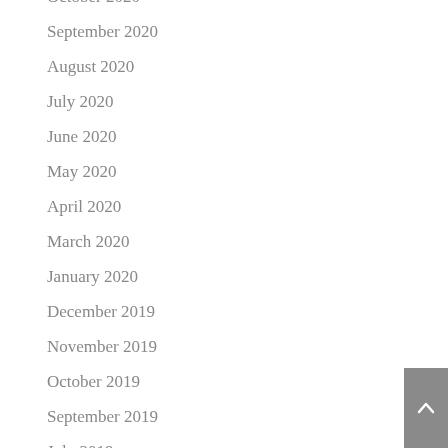October 2020
September 2020
August 2020
July 2020
June 2020
May 2020
April 2020
March 2020
January 2020
December 2019
November 2019
October 2019
September 2019
July 2019